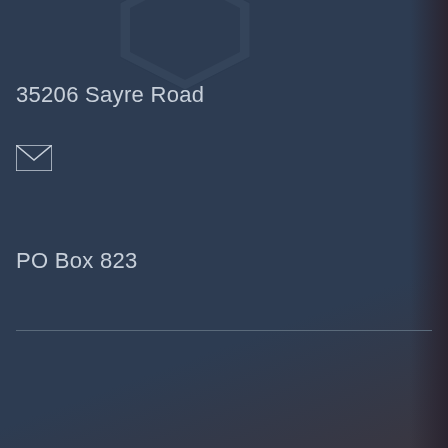[Figure (illustration): Dark hexagonal/geometric shape partially visible at top of page]
35206 Sayre Road
[Figure (illustration): Envelope/mail icon]
PO Box 823